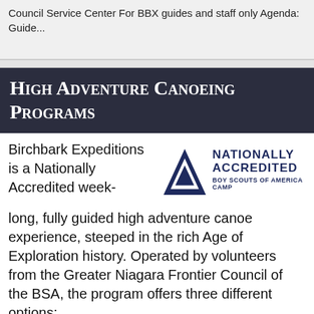Council Service Center For BBX guides and staff only Agenda: Guide...
High Adventure Canoeing Programs
Birchbark Expeditions is a Nationally Accredited week-long, fully guided high adventure canoe experience, steeped in the rich Age of Exploration history. Operated by volunteers from the Greater Niagara Frontier Council of the BSA, the program offers three different options:
[Figure (logo): Nationally Accredited Boy Scouts of America Camp logo with triangle/arrow emblem]